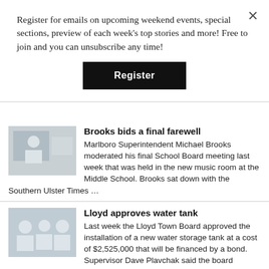Register for emails on upcoming weekend events, special sections, preview of each week's top stories and more! Free to join and you can unsubscribe any time!
Register
Brooks bids a final farewell
Marlboro Superintendent Michael Brooks moderated his final School Board meeting last week that was held in the new music room at the Middle School. Brooks sat down with the Southern Ulster Times …
Lloyd approves water tank
Last week the Lloyd Town Board approved the installation of a new water storage tank at a cost of $2,525,000 that will be financed by a bond. Supervisor Dave Plavchak said the board awarded the …